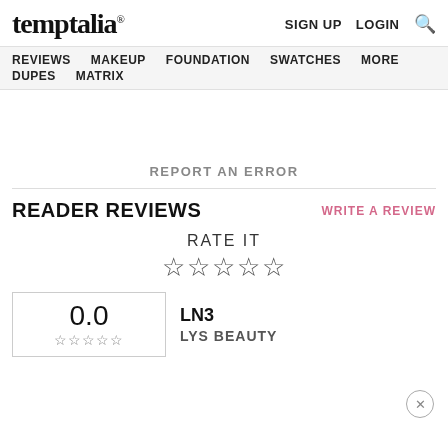temptalia® SIGN UP  LOGIN 🔍
REVIEWS  MAKEUP  FOUNDATION  SWATCHES  MORE  DUPES  MATRIX
REPORT AN ERROR
READER REVIEWS
WRITE A REVIEW
RATE IT ☆☆☆☆☆
0.0
LN3
LYS BEAUTY